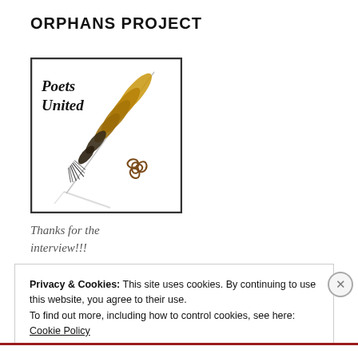ORPHANS PROJECT
[Figure (logo): Poets United logo with a golden quill feather pen lying diagonally on a white background, with the text 'Poets United' in italic script in the upper left and a triskelion symbol in the lower right. The image has a dark border.]
Thanks for the interview!!!
Privacy & Cookies: This site uses cookies. By continuing to use this website, you agree to their use.
To find out more, including how to control cookies, see here:
Cookie Policy
Close and accept